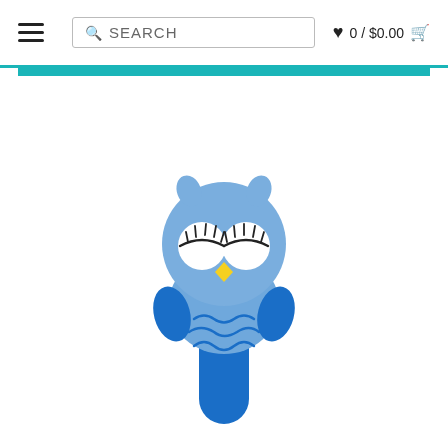SEARCH  0 / $0.00
[Figure (photo): A crocheted blue owl baby rattle toy with white eyes with closed eyelashes, yellow beak, darker blue wings and handle, photographed on white background]